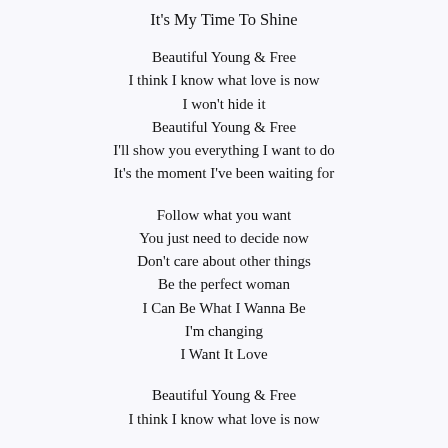It's My Time To Shine
Beautiful Young & Free
I think I know what love is now
I won't hide it
Beautiful Young & Free
I'll show you everything I want to do
It's the moment I've been waiting for
Follow what you want
You just need to decide now
Don't care about other things
Be the perfect woman
I Can Be What I Wanna Be
I'm changing
I Want It Love
Beautiful Young & Free
I think I know what love is now